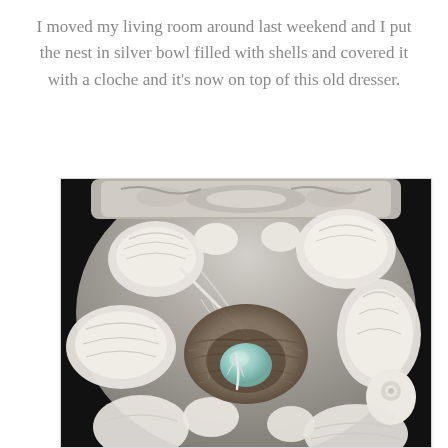I moved my living room around last weekend and I put the nest in silver bowl filled with shells and covered it with a cloche and it's now on top of this old dresser.
[Figure (photo): A bird's nest containing a light blue egg and a white feather, placed inside a decorative silver bowl filled with various white seashells, viewed from above.]